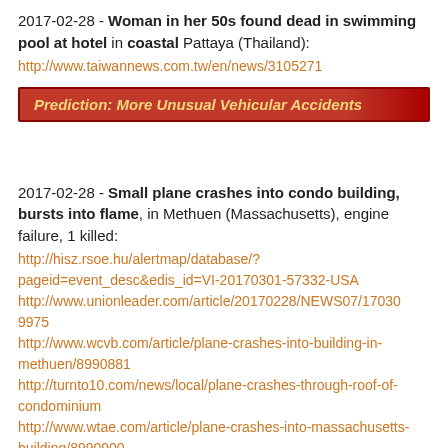2017-02-28 - Woman in her 50s found dead in swimming pool at hotel in coastal Pattaya (Thailand): http://www.taiwannews.com.tw/en/news/3105271
Prediction: More Unusual Vehicular Accidents
2017-02-28 - Small plane crashes into condo building, bursts into flame, in Methuen (Massachusetts), engine failure, 1 killed: http://hisz.rsoe.hu/alertmap/database/?pageid=event_desc&edis_id=VI-20170301-57332-USA http://www.unionleader.com/article/20170228/NEWS07/170309975 http://www.wcvb.com/article/plane-crashes-into-building-in-methuen/8990881 http://turnto10.com/news/local/plane-crashes-through-roof-of-condominium http://www.wtae.com/article/plane-crashes-into-massachusetts-building/8990900